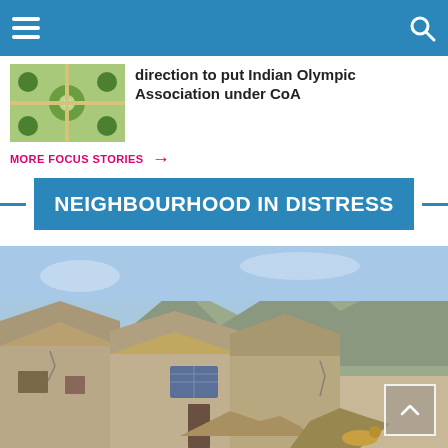[Navigation bar with hamburger menu and search icon]
direction to put Indian Olympic Association under CoA
MORE FOCUS STORIES →
NEIGHBOURHOOD IN DISTRESS
[Figure (photo): Dilapidated mud houses with thatched roofs in a mountainous region, with a solar panel visible on one of the structures. Rocky mountains visible in background.]